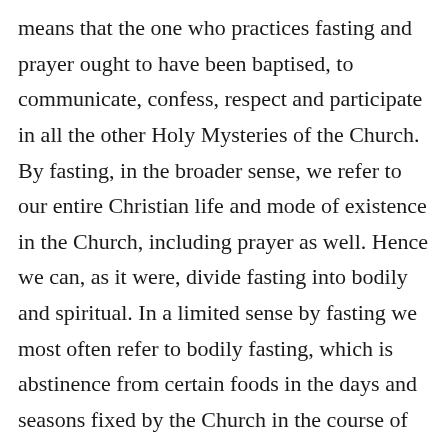means that the one who practices fasting and prayer ought to have been baptised, to communicate, confess, respect and participate in all the other Holy Mysteries of the Church. By fasting, in the broader sense, we refer to our entire Christian life and mode of existence in the Church, including prayer as well. Hence we can, as it were, divide fasting into bodily and spiritual. In a limited sense by fasting we most often refer to bodily fasting, which is abstinence from certain foods in the days and seasons fixed by the Church in the course of the year. These days should accurately be observed and no one should devise, without blessing, more or less than the Church, inspired by the Holy Spirit, has established. Much caution ought to be taken when